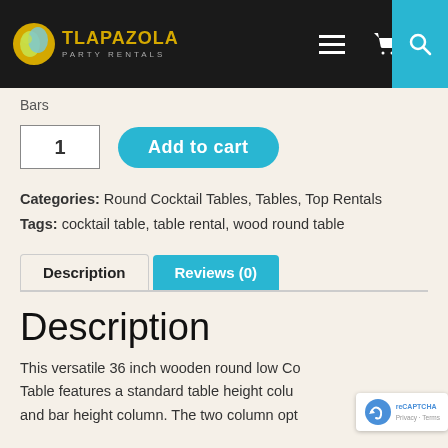[Figure (screenshot): Tlapazola Party Rentals website header with logo, hamburger menu, cart icon showing 0 items, and blue search button]
Bars
1  Add to cart
Categories: Round Cocktail Tables, Tables, Top Rentals
Tags: cocktail table, table rental, wood round table
Description | Reviews (0)
Description
This versatile 36 inch wooden round low Cocktail Table features a standard table height column and bar height column. The two column options allow you to...